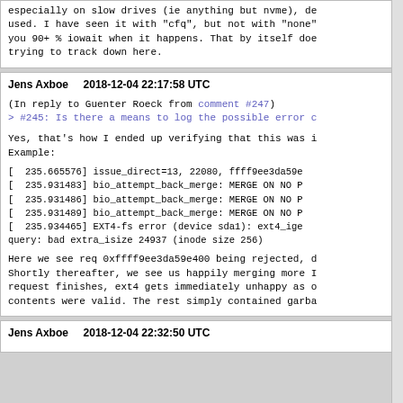especially on slow drives (ie anything but nvme), de used. I have seen it with "cfq", but not with "none" you 90+ % iowait when it happens. That by itself doe trying to track down here.
Jens Axboe    2018-12-04 22:17:58 UTC
(In reply to Guenter Roeck from comment #247)
> #245: Is there a means to log the possible error c
Yes, that's how I ended up verifying that this was i Example:
[  235.665576] issue_direct=13, 22080, ffff9ee3da59e
[  235.931483] bio_attempt_back_merge: MERGE ON NO P
[  235.931486] bio_attempt_back_merge: MERGE ON NO P
[  235.931489] bio_attempt_back_merge: MERGE ON NO P
[  235.934465] EXT4-fs error (device sda1): ext4_ige
query: bad extra_isize 24937 (inode size 256)
Here we see req 0xffff9ee3da59e400 being rejected, d Shortly thereafter, we see us happily merging more I request finishes, ext4 gets immediately unhappy as o contents were valid. The rest simply contained garba
Jens Axboe    2018-12-04 22:32:50 UTC